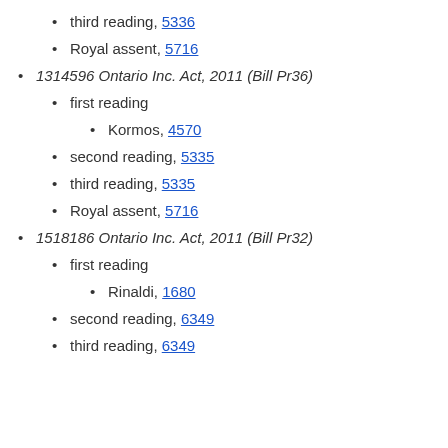third reading, 5336
Royal assent, 5716
1314596 Ontario Inc. Act, 2011 (Bill Pr36)
first reading
Kormos, 4570
second reading, 5335
third reading, 5335
Royal assent, 5716
1518186 Ontario Inc. Act, 2011 (Bill Pr32)
first reading
Rinaldi, 1680
second reading, 6349
third reading, 6349